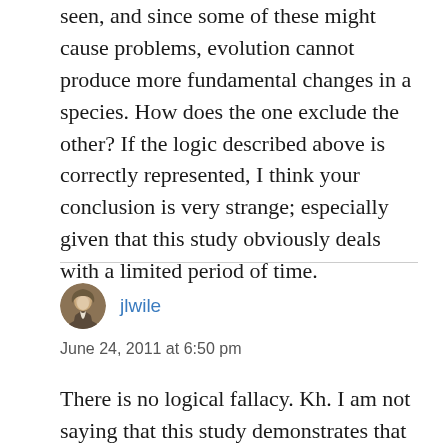seen, and since some of these might cause problems, evolution cannot produce more fundamental changes in a species. How does the one exclude the other? If the logic described above is correctly represented, I think your conclusion is very strange; especially given that this study obviously deals with a limited period of time.
jlwile
June 24, 2011 at 6:50 pm
There is no logical fallacy. Kh. I am not saying that this study demonstrates that large-scale evolutionary change cannot occur. I am simply